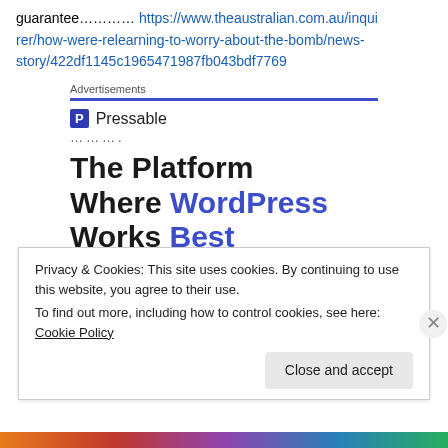guarantee………… https://www.theaustralian.com.au/inquirer/how-were-relearning-to-worry-about-the-bomb/news-story/422df1145c1965471987fb043bdf7769
Advertisements
[Figure (logo): Pressable logo with blue P icon and text 'Pressable', followed by dotted separator and heading 'The Platform Where WordPress Works Best']
Privacy & Cookies: This site uses cookies. By continuing to use this website, you agree to their use. To find out more, including how to control cookies, see here: Cookie Policy